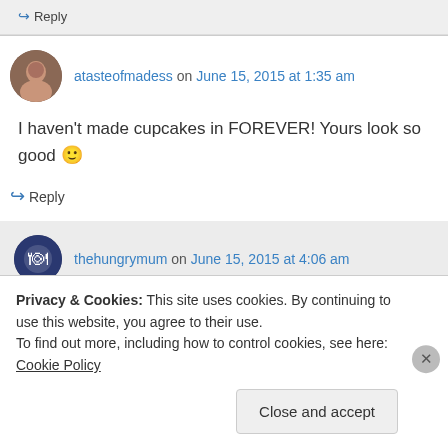↪ Reply
atasteofmadess on June 15, 2015 at 1:35 am
I haven't made cupcakes in FOREVER! Yours look so good 🙂
↪ Reply
thehungrymum on June 15, 2015 at 4:06 am
Privacy & Cookies: This site uses cookies. By continuing to use this website, you agree to their use. To find out more, including how to control cookies, see here: Cookie Policy
Close and accept